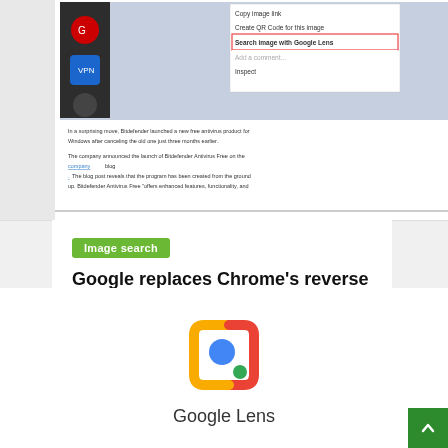[Figure (screenshot): Screenshot of a browser with a context menu showing 'Search image with Google Lens' option highlighted, and a partial webpage about Bitdefender Antivirus Free with social sharing icons (Facebook, Twitter, RSS) and 'SPREAD THE WORD' heading, plus 'GHACKS NEWSLETTER SIGN UP' section visible.]
Image search
Google replaces Chrome's reverse image search option with Google Lens
Michael C. Garrison   March 21, 2022
[Figure (logo): Google Lens logo — a square bracket icon with orange/red corners with a blue circle and green dot inside, with 'Google Lens' text beneath.]